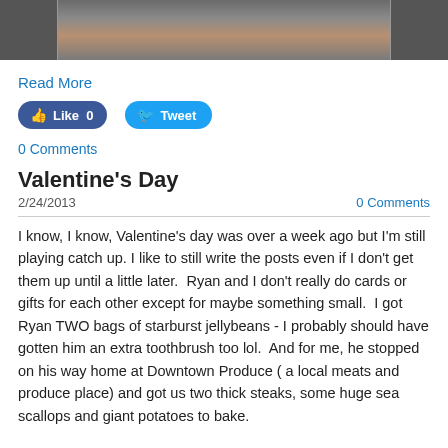[Figure (photo): Top portion of a photo showing dark hair and jacket, partially cropped]
Read More
[Figure (other): Social media buttons: Like 0 (Facebook) and Tweet (Twitter)]
0 Comments
Valentine's Day
2/24/2013
0 Comments
I know, I know, Valentine's day was over a week ago but I'm still playing catch up. I like to still write the posts even if I don't get them up until a little later.  Ryan and I don't really do cards or gifts for each other except for maybe something small.  I got Ryan TWO bags of starburst jellybeans - I probably should have gotten him an extra toothbrush too lol.  And for me, he stopped on his way home at Downtown Produce ( a local meats and produce place) and got us two thick steaks, some huge sea scallops and giant potatoes to bake.